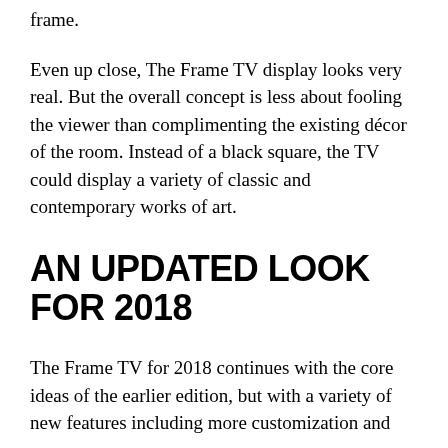frame.
Even up close, The Frame TV display looks very real. But the overall concept is less about fooling the viewer than complimenting the existing décor of the room. Instead of a black square, the TV could display a variety of classic and contemporary works of art.
AN UPDATED LOOK FOR 2018
The Frame TV for 2018 continues with the core ideas of the earlier edition, but with a variety of new features including more customization and